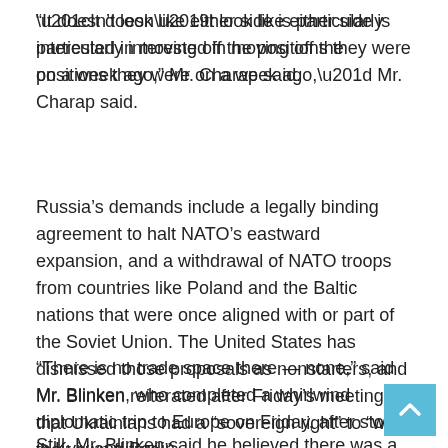“It doesn’t look like either side is particularly interested in moving off the positions they were on a week ago,” Mr. Charap said.
Russia’s demands include a legally binding agreement to halt NATO’s eastward expansion, and a withdrawal of NATO troops from countries like Poland and the Baltic nations that were once aligned with or part of the Soviet Union. The United States has dismissed those proposals as nonstarters, and Mr. Blinken reiterated after Friday’s meeting that Ukrainians had a “sovereign right” to “write their own future.”
“There is no trade space there — none,” said Mr. Blinken, who completed a whirlwind diplomatic trip to Europe on Friday, after stops in Kyiv and Berlin.
Still, Mr. Blinken said he believed there was a way to develop